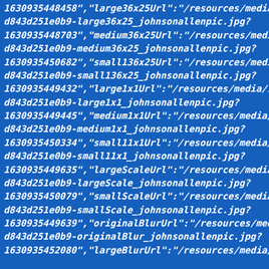1630935448458","large36x25Url":"/resources/media/7f3c d843d251e0b9-large36x25_johnsonallenpic.jpg? 1630935448703","medium36x25Url":"/resources/media/7f3c d843d251e0b9-medium36x25_johnsonallenpic.jpg? 1630935450682","small136x25Url":"/resources/media/7f3cc d843d251e0b9-small136x25_johnsonallenpic.jpg? 1630935449432","large1x1Url":"/resources/media/7f3cc7c d843d251e0b9-large1x1_johnsonallenpic.jpg? 1630935449445","medium1x1Url":"/resources/media/7f3cc d843d251e0b9-medium1x1_johnsonallenpic.jpg? 1630935450334","small11x1Url":"/resources/media/7f3cc7c d843d251e0b9-small11x1_johnsonallenpic.jpg? 1630935449635","largeScaleUrl":"/resources/media/7f3cc d843d251e0b9-largeScale_johnsonallenpic.jpg? 1630935450079","smallScaleUrl":"/resources/media/7f3cc d843d251e0b9-smallScale_johnsonallenpic.jpg? 1630935449639","originalBlurUrl":"/resources/media/7f3 d843d251e0b9-originalBlur_johnsonallenpic.jpg? 1630935452080","largeBlurUrl":"/resources/media/7f3cc